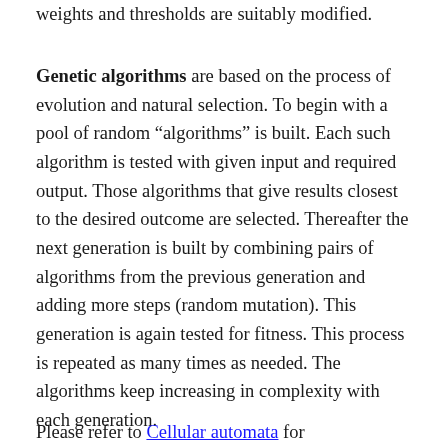weights and thresholds are suitably modified.
Genetic algorithms are based on the process of evolution and natural selection. To begin with a pool of random “algorithms” is built. Each such algorithm is tested with given input and required output. Those algorithms that give results closest to the desired outcome are selected. Thereafter the next generation is built by combining pairs of algorithms from the previous generation and adding more steps (random mutation). This generation is again tested for fitness. This process is repeated as many times as needed. The algorithms keep increasing in complexity with each generation.
Please refer to Cellular automata for